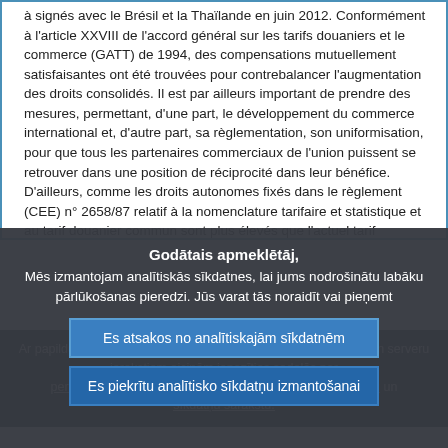à signés avec le Brésil et la Thaïlande en juin 2012. Conformément à l'article XXVIII de l'accord général sur les tarifs douaniers et le commerce (GATT) de 1994, des compensations mutuellement satisfaisantes ont été trouvées pour contrebalancer l'augmentation des droits consolidés. Il est par ailleurs important de prendre des mesures, permettant, d'une part, le développement du commerce international et, d'autre part, sa règlementation, son uniformisation, pour que tous les partenaires commerciaux de l'union puissent se retrouver dans une position de réciprocité dans leur bénéfice. D'ailleurs, comme les droits autonomes fixés dans le règlement (CEE) n° 2658/87 relatif à la nomenclature tarifaire et statistique et au tarif douanier commun sont plus élevés que l'actuel tarif consolidé
Godātais apmeklētāj,
Mēs izmantojam analītiskās sīkdatnes, lai jums nodrošinātu labāku pārlūkošanas pieredzi. Jūs varat tās noraidīt vai pieņemt
Es atsakos no analītiskajām sīkdatnēm
Es piekrītu analītisko sīkdatņu izmantošanai
Ar papildu informāciju par citām mūsu izmantotajām sīkdatnēm un serveru ierakstiem aicinām iepazīties sadaļās par personas datu aizsardzības politiku , mūsu sīkdatņu politiku un sīkdatņu sarakstu.